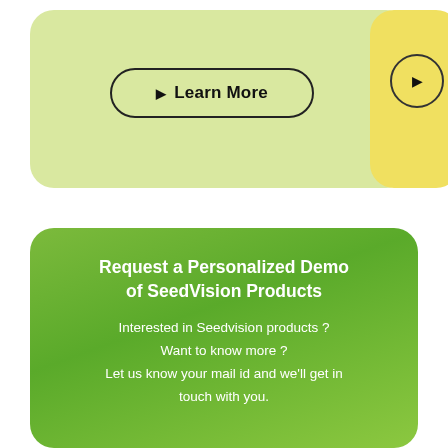[Figure (illustration): Partial view of a light green rounded card with a 'Learn More' button (outlined pill shape with arrow), and a partial yellow rounded card on the right with a circle arrow button, on white background.]
Request a Personalized Demo of SeedVision Products
Interested in Seedvision products ? Want to know more ? Let us know your mail id and we'll get in touch with you.